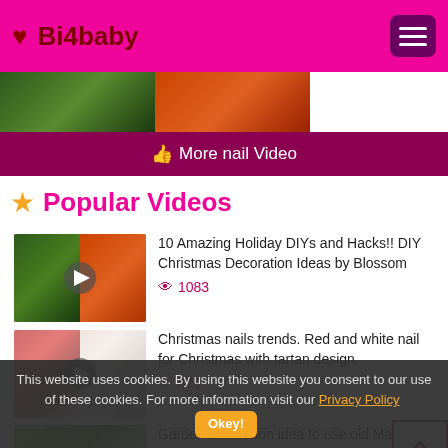❤ Bi4baby
[Figure (screenshot): Partial image strip at top showing Christmas decoration thumbnails]
👍 More nail Video
★ Popular Videos
[Figure (screenshot): Video thumbnail: 10 Amazing Holiday DIYs and Hacks!! DIY Christmas Decoration Ideas by Blossom]
10 Amazing Holiday DIYs and Hacks!! DIY Christmas Decoration Ideas by Blossom
👁 1083
[Figure (screenshot): Video thumbnail: Christmas nails trends. Red and white nail for Christmas with tartan design.]
Christmas nails trends. Red and white nail for Christmas with tartan design.
👁 470
[Figure (screenshot): Video thumbnail: Garden decoration idea to use old Matka]
Garden decoration idea to use old Matka /
This website uses cookies. By using this website you consent to our use of these cookies. For more information visit our Privacy Policy  Okey!